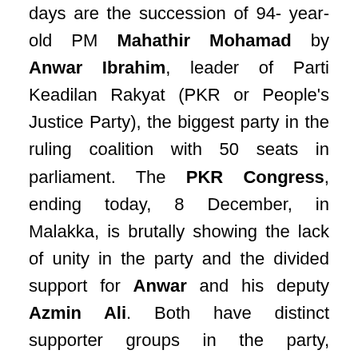days are the succession of 94- year-old PM Mahathir Mohamad by Anwar Ibrahim, leader of Parti Keadilan Rakyat (PKR or People's Justice Party), the biggest party in the ruling coalition with 50 seats in parliament. The PKR Congress, ending today, 8 December, in Malakka, is brutally showing the lack of unity in the party and the divided support for Anwar and his deputy Azmin Ali. Both have distinct supporter groups in the party, especially in the youth wing. Despite an amicable meeting and propagated consensus between the two leaders on the day before the congress, the conflict broke out much too visibly and telegenic with turmoil inside and outside the conference venue and fighting of the enraged representatives, angry on behalf of the leaders they wanted to prevail. The sacking of faithful supporters on both sides was adding fuel to the fire, the program for the